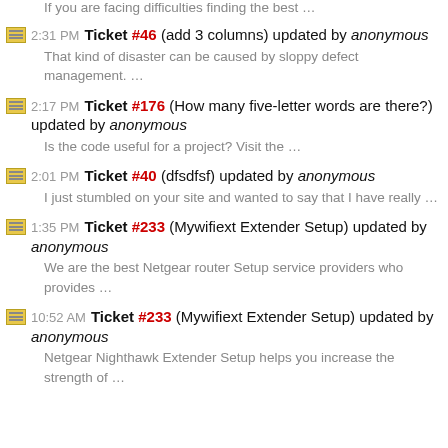If you are facing difficulties finding the best …
2:31 PM Ticket #46 (add 3 columns) updated by anonymous
That kind of disaster can be caused by sloppy defect management. …
2:17 PM Ticket #176 (How many five-letter words are there?) updated by anonymous
Is the code useful for a project? Visit the …
2:01 PM Ticket #40 (dfsdfsf) updated by anonymous
I just stumbled on your site and wanted to say that I have really …
1:35 PM Ticket #233 (Mywifiext Extender Setup) updated by anonymous
We are the best Netgear router Setup service providers who provides …
10:52 AM Ticket #233 (Mywifiext Extender Setup) updated by anonymous
Netgear Nighthawk Extender Setup helps you increase the strength of …